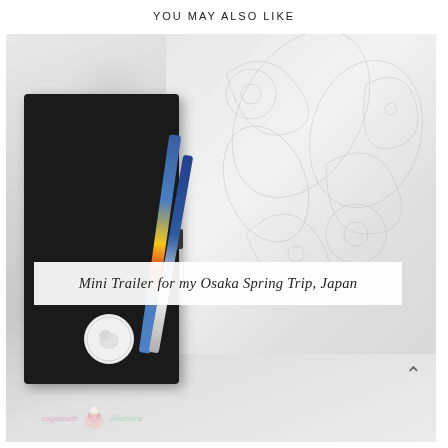YOU MAY ALSO LIKE
[Figure (photo): A photograph taken from above showing a black leather planner/wallet with colorful pen inserts on a white marble surface, beside a white notebook with paisley embossed pattern. A white circular sticker/badge is visible on the planner.]
Mini Trailer for my Osaka Spring Trip, Japan